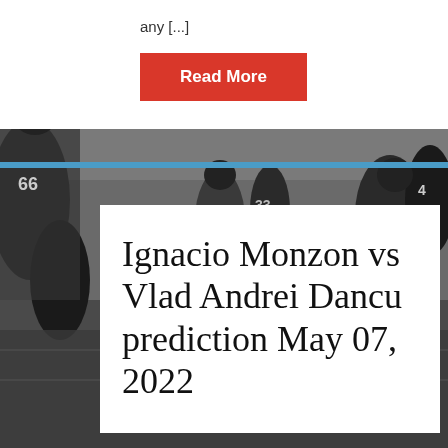any [...]
Read More
[Figure (photo): Black and white photograph of American football players in action on a field, viewed from sideline]
Ignacio Monzon vs Vlad Andrei Dancu prediction May 07, 2022